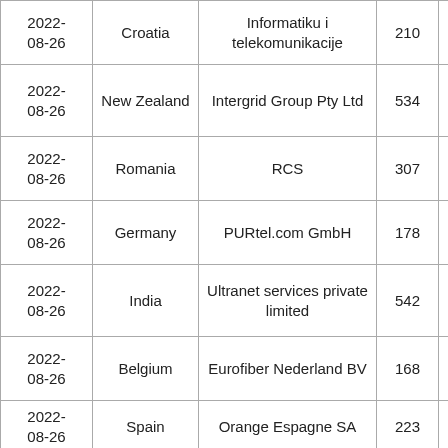| 2022-08-26 | Croatia | Informatiku i telekomunikacije | 210 |  |
| 2022-08-26 | New Zealand | Intergrid Group Pty Ltd | 534 |  |
| 2022-08-26 | Romania | RCS | 307 |  |
| 2022-08-26 | Germany | PURtel.com GmbH | 178 |  |
| 2022-08-26 | India | Ultranet services private limited | 542 |  |
| 2022-08-26 | Belgium | Eurofiber Nederland BV | 168 |  |
| 2022-08-26 | Spain | Orange Espagne SA | 223 |  |